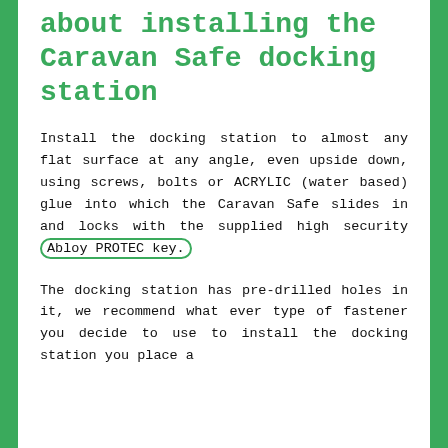about installing the Caravan Safe docking station
Install the docking station to almost any flat surface at any angle, even upside down, using screws, bolts or ACRYLIC (water based) glue into which the Caravan Safe slides in and locks with the supplied high security Abloy PROTEC key.
The docking station has pre-drilled holes in it, we recommend what ever type of fastener you decide to use to install the docking station you place a